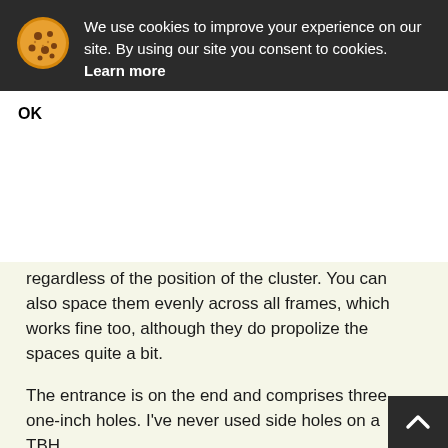[Figure (other): Cookie consent banner with cookie icon, text about cookies, and an OK button]
regardless of the position of the cluster. You can also space them evenly across all frames, which works fine too, although they do propolize the spaces quite a bit.
The entrance is on the end and comprises three one-inch holes. I've never used side holes on a TBH.
I seldom see bees get all their honey capped before winter. They often eat it early on, so it doesn't seem to be much of a problem.
I leave the whiteboard out unless the temperatures drop into the 20s F.
Just remember that all top-bar hives are designed differently, so some get better results. Mine is like a